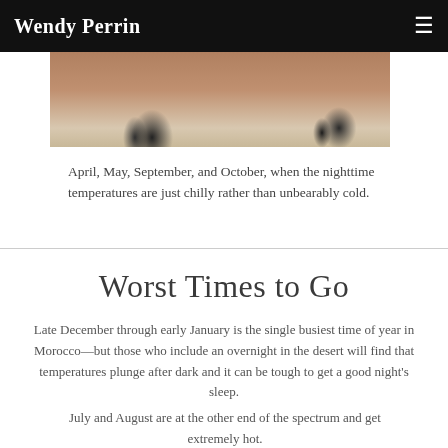Wendy Perrin
[Figure (photo): Partial photo showing bicycles leaning against a brick wall, viewed from above or side angle]
April, May, September, and October, when the nighttime temperatures are just chilly rather than unbearably cold.
Worst Times to Go
Late December through early January is the single busiest time of year in Morocco—but those who include an overnight in the desert will find that temperatures plunge after dark and it can be tough to get a good night's sleep.
July and August are at the other end of the spectrum and get extremely hot.